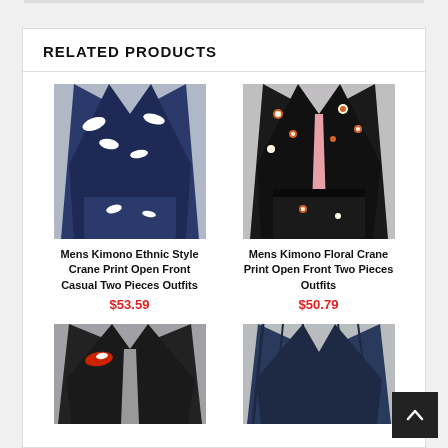RELATED PRODUCTS
[Figure (photo): Mens Kimono Ethnic Style Crane Print Open Front Casual Two Pieces Outfits - navy blue kimono and shorts set]
Mens Kimono Ethnic Style Crane Print Open Front Casual Two Pieces Outfits
$53.59
[Figure (photo): Mens Kimono Floral Crane Print Open Front Two Pieces Outfits - black kimono and shorts with floral pattern]
Mens Kimono Floral Crane Print Open Front Two Pieces Outfits
$50.79
[Figure (photo): Dark kimono with red crane print - partially visible]
[Figure (photo): Navy blue striped kimono - partially visible]